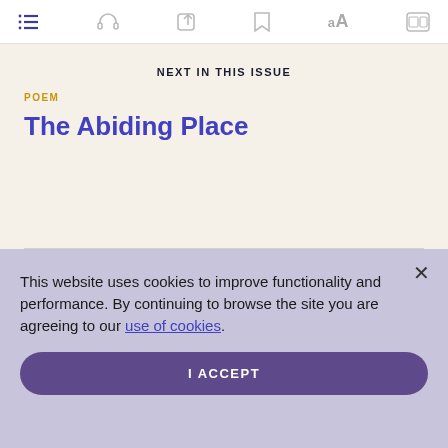Toolbar with navigation icons: list, headphones, share, bookmark, font size (aA), and captions toggle
NEXT IN THIS ISSUE
POEM
The Abiding Place
This website uses cookies to improve functionality and performance. By continuing to browse the site you are agreeing to our use of cookies.
I ACCEPT